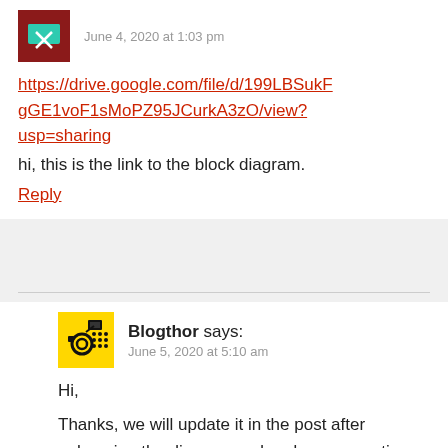[Figure (illustration): User avatar: dark red/brown square with a green inbox tray icon and an X symbol]
June 4, 2020 at 1:03 pm
https://drive.google.com/file/d/199LBSukFgGE1voF1sMoPZ95JCurkA3zO/view?usp=sharing
hi, this is the link to the block diagram.
Reply
[Figure (illustration): User avatar: yellow square with black satellite/communication icons]
Blogthor says:
June 5, 2020 at 5:10 am
Hi,
Thanks, we will update it in the post after enhancing the diagram and and any corrections if any, very soon.